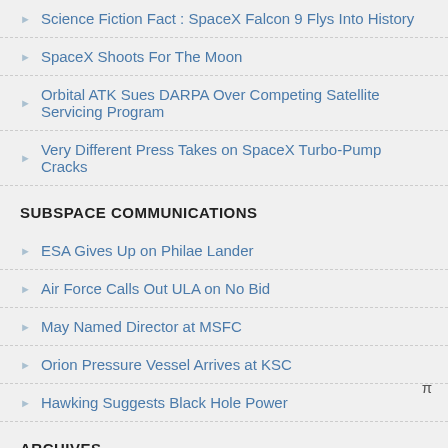Science Fiction Fact : SpaceX Falcon 9 Flys Into History
SpaceX Shoots For The Moon
Orbital ATK Sues DARPA Over Competing Satellite Servicing Program
Very Different Press Takes on SpaceX Turbo-Pump Cracks
SUBSPACE COMMUNICATIONS
ESA Gives Up on Philae Lander
Air Force Calls Out ULA on No Bid
May Named Director at MSFC
Orion Pressure Vessel Arrives at KSC
Hawking Suggests Black Hole Power
ARCHIVES
September 2017
March 2017
February 2017